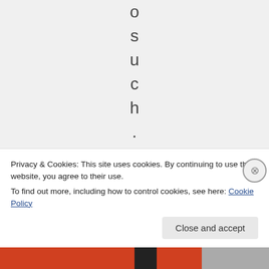o s u c h . I n f a c
Privacy & Cookies: This site uses cookies. By continuing to use this website, you agree to their use.
To find out more, including how to control cookies, see here: Cookie Policy
Close and accept